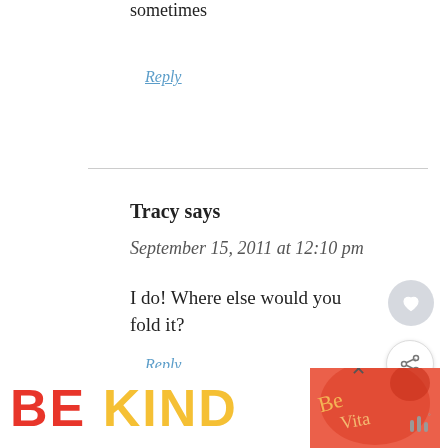sometimes
Reply
Tracy says
September 15, 2011 at 12:10 pm
I do! Where else would you fold it?
Reply
KathEats says
[Figure (screenshot): BE KIND advertisement overlay with decorative script text and close button]
[Figure (screenshot): What's Next widget showing food image with Follow Your Cravings text]